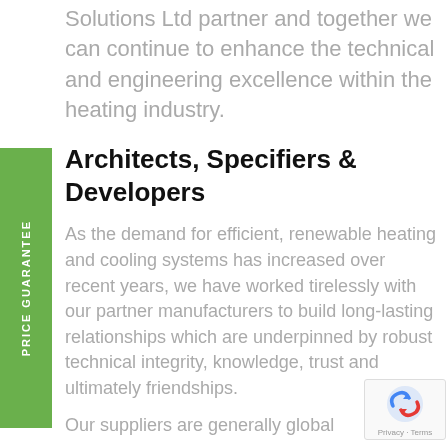Solutions Ltd partner and together we can continue to enhance the technical and engineering excellence within the heating industry.
Architects, Specifiers & Developers
As the demand for efficient, renewable heating and cooling systems has increased over recent years, we have worked tirelessly with our partner manufacturers to build long-lasting relationships which are underpinned by robust technical integrity, knowledge, trust and ultimately friendships.
Our suppliers are generally global